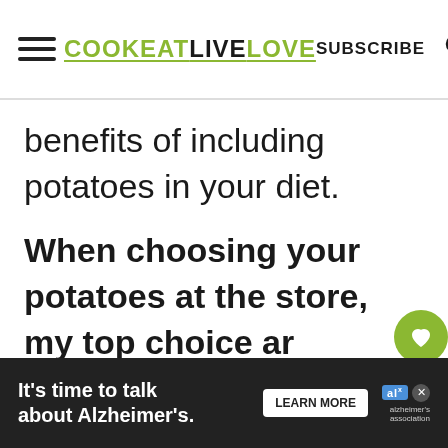COOK EAT LIVE LOVE | SUBSCRIBE
benefits of including potatoes in your diet.
When choosing your potatoes at the store, my top choice are Yukon Gold potatoes. These all purpose potatoes create the creamiest texture when making this vegan potato soup recipe. You c... such
[Figure (infographic): Two floating circular buttons: a heart (favorite) button and a share button, both green circles with white icons]
[Figure (infographic): What's Next card showing a food image thumbnail and text: 'Making a Tofu Ground Beef...']
[Figure (infographic): Alzheimer's awareness advertisement banner: "It's time to talk about Alzheimer's." with LEARN MORE button and alzheimer's association logo]